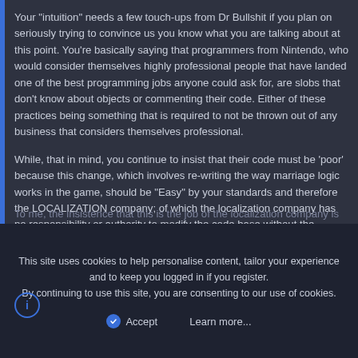Your "intuition" needs a few touch-ups from Dr Bullshit if you plan on seriously trying to convince us you know what you are talking about at this point. You're basically saying that programmers from Nintendo, who would consider themselves highly professional people that have landed one of the best programming jobs anyone could ask for, are slobs that don't know about objects or commenting their code. Either of these practices being something that is required to not be thrown out of any business that considers themselves professional.
While, that in mind, you continue to insist that their code must be 'poor' because this change, which involves re-writing the way marriage logic works in the game, should be "Easy" by your standards and therefore the LOCALIZATION company; of which the localization company has no responsibility or authority to modify the code base without the original developers consent, should be implementing it.
To me, the insistence that this is the job of the localization company is
This site uses cookies to help personalise content, tailor your experience and to keep you logged in if you register.
By continuing to use this site, you are consenting to our use of cookies.